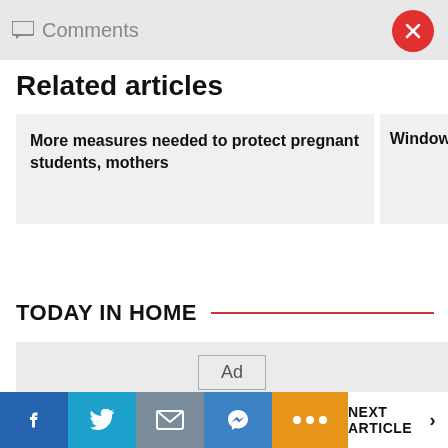Comments
Related articles
More measures needed to protect pregnant students, mothers
Window Mech
TODAY IN HOME
Ad
NEXT ARTICLE >